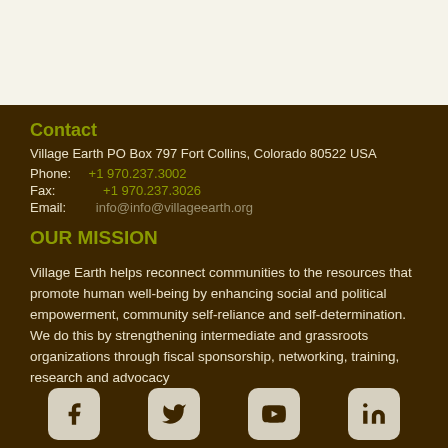Contact
Village Earth PO Box 797 Fort Collins, Colorado 80522 USA
Phone: +1 970.237.3002
Fax: +1 970.237.3026
Email: info@info@villageearth.org
OUR MISSION
Village Earth helps reconnect communities to the resources that promote human well-being by enhancing social and political empowerment, community self-reliance and self-determination. We do this by strengthening intermediate and grassroots organizations through fiscal sponsorship, networking, training, research and advocacy
[Figure (infographic): Four social media icons in rounded square boxes: Facebook, Twitter, YouTube, LinkedIn]